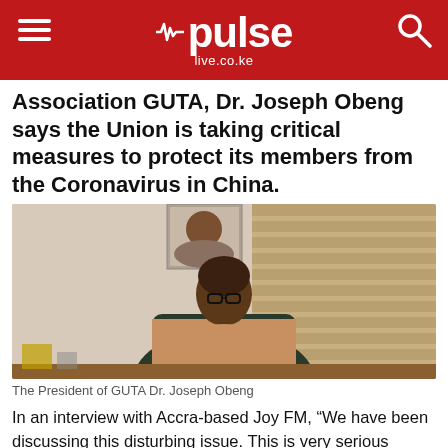pulse live.co.ke
Association GUTA, Dr. Joseph Obeng says the Union is taking critical measures to protect its members from the Coronavirus in China.
[Figure (photo): Photo of Dr. Joseph Obeng, President of GUTA, seated in an office chair wearing a tan/khaki outfit and glasses]
The President of GUTA Dr. Joseph Obeng
In an interview with Accra-based Joy FM, “We have been discussing this disturbing issue. This is very serious because it is about our lives and lives. When it comes to